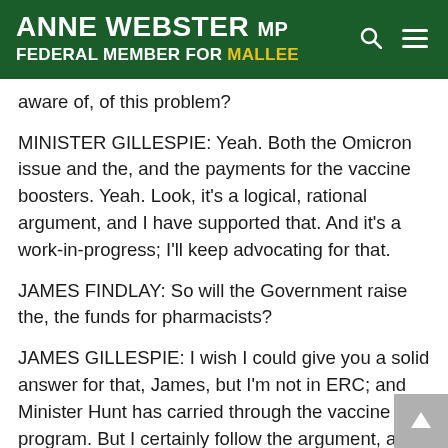ANNE WEBSTER MP FEDERAL MEMBER FOR MALLEE
g p aware of, of this problem?
MINISTER GILLESPIE: Yeah. Both the Omicron issue and the, and the payments for the vaccine boosters. Yeah. Look, it's a logical, rational argument, and I have supported that. And it's a work-in-progress; I'll keep advocating for that.
JAMES FINDLAY: So will the Government raise the, the funds for pharmacists?
JAMES GILLESPIE: I wish I could give you a solid answer for that, James, but I'm not in ERC; and Minister Hunt has carried through the vaccine program. But I certainly follow the argument, and the reality that a lot of people are withdrawing from the vaccine pro, you know, vaccine administrators, both